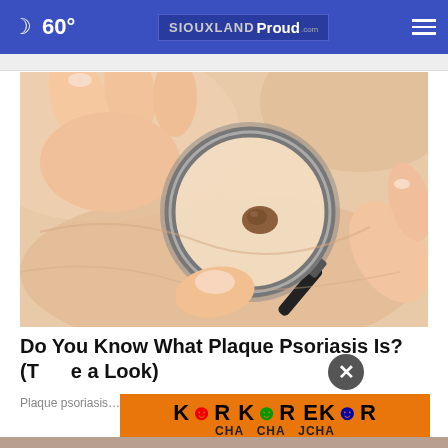60° SIOUXLAND Proud
[Figure (photo): Close-up photo of a person holding a magnifying glass over a skin mole/lesion on human skin, with fingernails visible.]
Do You Know What Plaque Psoriasis Is? (Take a Look)
Plaque
[Figure (photo): Advertisement banner showing KOR/EKOR product bottles with colorful labels on orange background.]